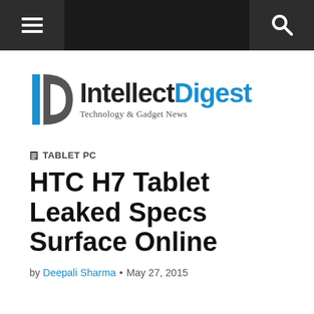Navigation bar with menu and search buttons
[Figure (logo): Intellect Digest logo — stylized D icon in blue/grey with text 'IntellectDigest' and tagline 'Technology & Gadget News']
TABLET PC
HTC H7 Tablet Leaked Specs Surface Online
by Deepali Sharma • May 27, 2015